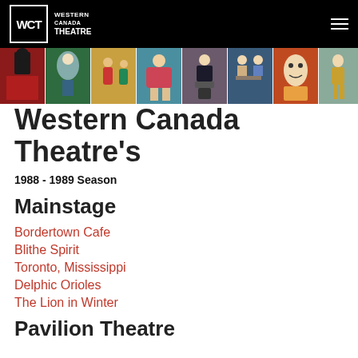WCT Western Canada Theatre
[Figure (illustration): Horizontal strip of 8 stylized theatrical poster illustrations]
Western Canada Theatre's
1988 - 1989 Season
Mainstage
Bordertown Cafe
Blithe Spirit
Toronto, Mississippi
Delphic Orioles
The Lion in Winter
Pavilion Theatre